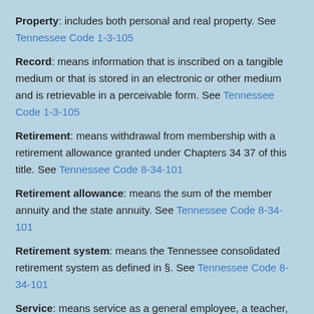Property: includes both personal and real property. See Tennessee Code 1-3-105
Record: means information that is inscribed on a tangible medium or that is stored in an electronic or other medium and is retrievable in a perceivable form. See Tennessee Code 1-3-105
Retirement: means withdrawal from membership with a retirement allowance granted under Chapters 34 37 of this title. See Tennessee Code 8-34-101
Retirement allowance: means the sum of the member annuity and the state annuity. See Tennessee Code 8-34-101
Retirement system: means the Tennessee consolidated retirement system as defined in §. See Tennessee Code 8-34-101
Service: means service as a general employee, a teacher,